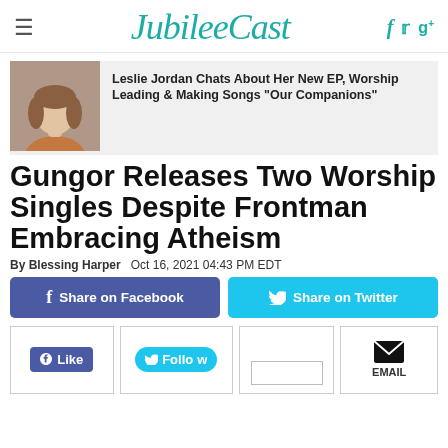JubileeCast
[Figure (photo): Photo of Leslie Jordan, a woman with long hair]
Leslie Jordan Chats About Her New EP, Worship Leading & Making Songs "Our Companions"
Gungor Releases Two Worship Singles Despite Frontman Embracing Atheism
By Blessing Harper   Oct 16, 2021 04:43 PM EDT
Share on Facebook
Share on Twitter
Like
Follow
EMAIL